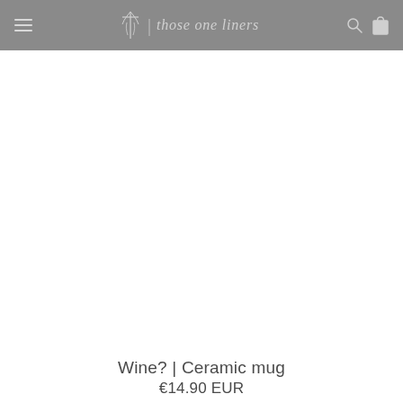those one liners
Wine? | Ceramic mug
€14.90 EUR